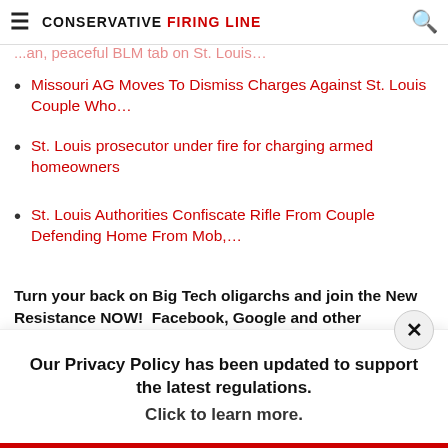CONSERVATIVE FIRING LINE
Missouri AG Moves To Dismiss Charges Against St. Louis Couple Who…
St. Louis prosecutor under fire for charging armed homeowners
St. Louis Authorities Confiscate Rifle From Couple Defending Home From Mob,…
Turn your back on Big Tech oligarchs and join the New Resistance NOW!  Facebook, Google and other members of the Silicon Valley Axis of Evil are now doing everything they can to deliberately silence conservative content online, so
Our Privacy Policy has been updated to support the latest regulations. Click to learn more.